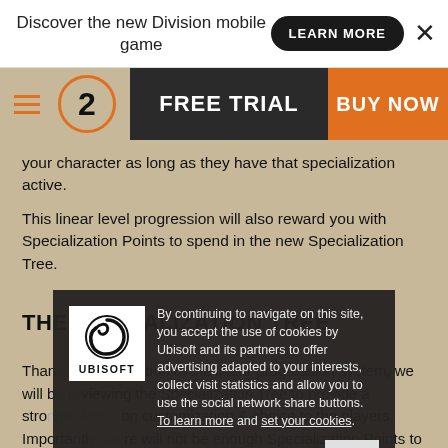Discover the new Division mobile game
your character as long as they have that specialization active.
This linear level progression will also reward you with Specialization Points to spend in the new Specialization Tree.
THE SPECIALIZATION TREE
Thanks to the addition of the linear progression system, we will be reviewing the Specialization Tree to provide a stronger focus on customization & choice to the players. Importantly, there will not be enough Specialization Points to purchase every perk on the tree. Instead, you will need to choose what perks best fit your playstyle.
The Specialization Tree focuses on three elements: signature
[Figure (other): Cookie consent overlay with Ubisoft logo. Text: By continuing to navigate on this site, you accept the use of cookies by Ubisoft and its partners to offer advertising adapted to your interests, collect visit statistics and allow you to use the social network share buttons. To learn more and set your cookies. OK button.]